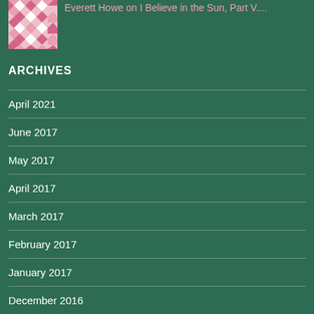Everett Howe on I Believe in the Sun, Part V....
ARCHIVES
April 2021
June 2017
May 2017
April 2017
March 2017
February 2017
January 2017
December 2016
November 2016